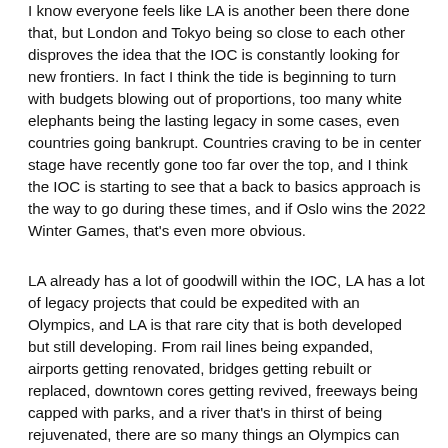I know everyone feels like LA is another been there done that, but London and Tokyo being so close to each other disproves the idea that the IOC is constantly looking for new frontiers. In fact I think the tide is beginning to turn with budgets blowing out of proportions, too many white elephants being the lasting legacy in some cases, even countries going bankrupt. Countries craving to be in center stage have recently gone too far over the top, and I think the IOC is starting to see that a back to basics approach is the way to go during these times, and if Oslo wins the 2022 Winter Games, that's even more obvious.
LA already has a lot of goodwill within the IOC, LA has a lot of legacy projects that could be expedited with an Olympics, and LA is that rare city that is both developed but still developing. From rail lines being expanded, airports getting renovated, bridges getting rebuilt or replaced, downtown cores getting revived, freeways being capped with parks, and a river that's in thirst of being rejuvenated, there are so many things an Olympics can and will put it's stamp on. The recent revenue deal between the IOC and USOC cleared the path for an American city to have a fair chance and the field of cities interested in 2024 doesn't seem to be that strong so this is the biggest window of opportunity the US has had in recent years. Most importantly, LA has always had